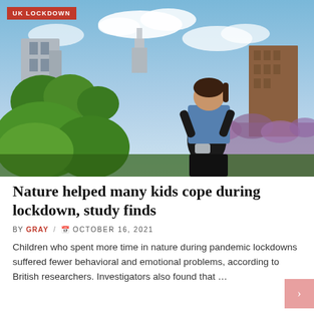[Figure (photo): A man wearing a face mask carries a young girl on his shoulders in an outdoor park setting with greenery and flowers. City buildings and a skyline visible in background under partly cloudy sky.]
Nature helped many kids cope during lockdown, study finds
BY GRAY / OCTOBER 16, 2021
Children who spent more time in nature during pandemic lockdowns suffered fewer behavioral and emotional problems, according to British researchers. Investigators also found that …